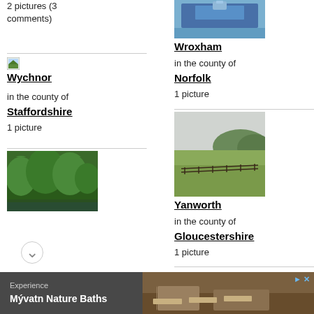2 pictures (3 comments)
[Figure (photo): Small thumbnail of a boat on water (Wroxham)]
Wroxham
in the county of Norfolk
1 picture
[Figure (photo): Small icon placeholder for Wychnor]
Wychnor
in the county of Staffordshire
1 picture
[Figure (photo): Landscape photo of green fields and fence (Yanworth)]
Yanworth
in the county of Gloucestershire
1 picture
[Figure (photo): Forest/woodland photo (partially visible at bottom left)]
Experience Mývatn Nature Baths